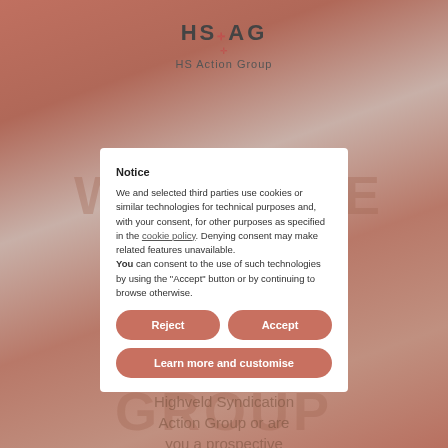[Figure (logo): HSAG HS Action Group logo with cross symbol]
WELCOME TO THE HS ACTION GROUP
Do you support the Highveld Syndication Action Group or are you a prospective claimant? / Ondersteun u die Highveld Syndication Aksie
Notice
We and selected third parties use cookies or similar technologies for technical purposes and, with your consent, for other purposes as specified in the cookie policy. Denying consent may make related features unavailable.
You can consent to the use of such technologies by using the "Accept" button or by continuing to browse otherwise.
Reject
Accept
Learn more and customise